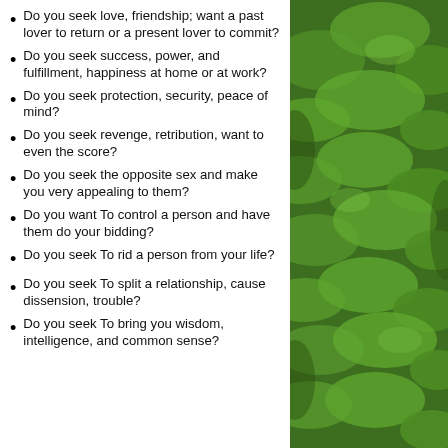Do you seek love, friendship; want a past lover to return or a present lover to commit?
Do you seek success, power, and fulfillment, happiness at home or at work?
Do you seek protection, security, peace of mind?
Do you seek revenge, retribution, want to even the score?
Do you seek the opposite sex and make you very appealing to them?
Do you want To control a person and have them do your bidding?
Do you seek To rid a person from your life?
Do you seek To split a relationship, cause dissension, trouble?
Do you seek To bring you wisdom, intelligence, and common sense?
[Figure (photo): Close-up photo of green leafy plants, lush green foliage filling the right panel]